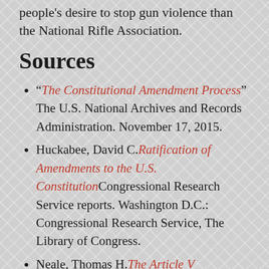people's desire to stop gun violence than the National Rifle Association.
Sources
“The Constitutional Amendment Process” The U.S. National Archives and Records Administration. November 17, 2015.
Huckabee, David C. Ratification of Amendments to the U.S. Constitution Congressional Research Service reports. Washington D.C.: Congressional Research Service, The Library of Congress.
Neale, Thomas H. The Article V Convention to Propose Constitutional Amendments: Contemporary Issues for Congress Congressional